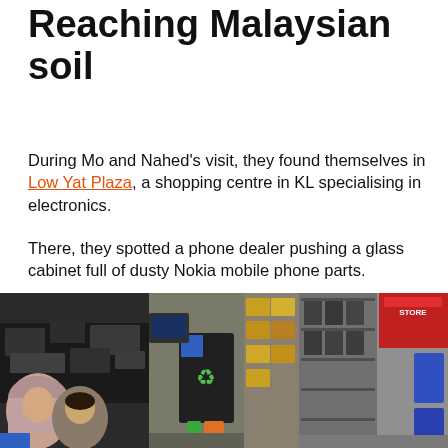Reaching Malaysian soil
During Mo and Nahed's visit, they found themselves in Low Yat Plaza, a shopping centre in KL specialising in electronics.
There, they spotted a phone dealer pushing a glass cabinet full of dusty Nokia mobile phone parts.
Naturally, the couple asked him where he was taking the parts.
The dealer told them that he was cleaning his shop's storage and was about to dump the devices. Upon hearing that, Mo asked him to hold onto the batch for another day. Meanwhile, he started looking for a recycling facility that deals with mobile phones.
[Figure (photo): Three photos side by side at the bottom of the page: left photo shows a person in a headscarf with a man in front of a pile of electronics/devices; middle photo shows electronics recycling bins and equipment in a shop; right photo shows a store interior with electronics and red signage.]